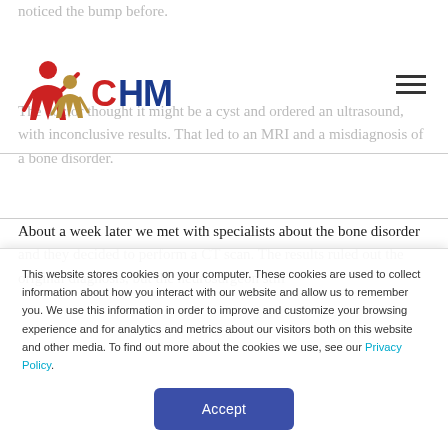noticed the bump before.
[Figure (logo): CHM logo with stylized figures in red and gold, text 'CHM' in blue and red]
The doctor thought it might be a cyst and ordered an ultrasound, with inconclusive results. That led to an MRI and a misdiagnosis of a bone disorder.
About a week later we met with specialists about the bone disorder and they decided to perform a CT scan. The results ruled out the original diagnosis, but the neurosurgeon still
This website stores cookies on your computer. These cookies are used to collect information about how you interact with our website and allow us to remember you. We use this information in order to improve and customize your browsing experience and for analytics and metrics about our visitors both on this website and other media. To find out more about the cookies we use, see our Privacy Policy.
Accept